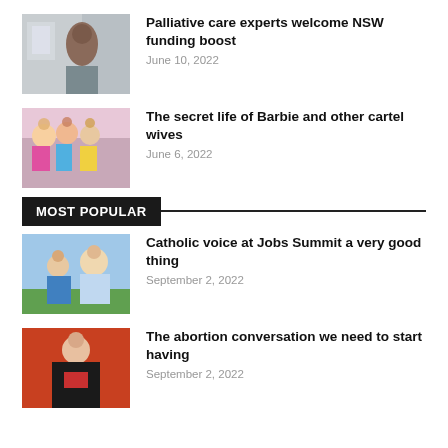[Figure (photo): Healthcare worker in a clinical setting, viewed from behind]
Palliative care experts welcome NSW funding boost
June 10, 2022
[Figure (photo): Group of women in colorful clothing, possibly at a celebration or pageant]
The secret life of Barbie and other cartel wives
June 6, 2022
MOST POPULAR
[Figure (photo): Nurse caring for an elderly patient outdoors]
Catholic voice at Jobs Summit a very good thing
September 2, 2022
[Figure (photo): Woman in a black jacket against an orange background]
The abortion conversation we need to start having
September 2, 2022